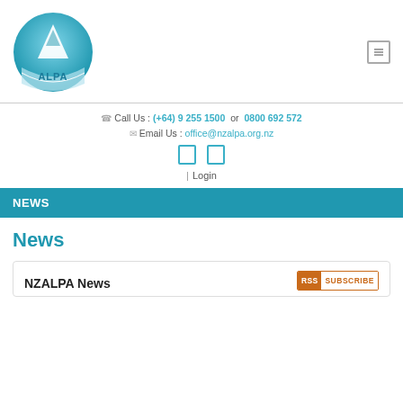[Figure (logo): ALPA circular logo with mountain/arrow motif and ALPA text in blue]
Call Us : (+64) 9 255 1500 or 0800 692 572
Email Us : office@nzalpa.org.nz
[Figure (other): Facebook and Twitter/social media icon buttons]
| Login
NEWS
News
NZALPA News
[Figure (other): RSS Subscribe badge button]